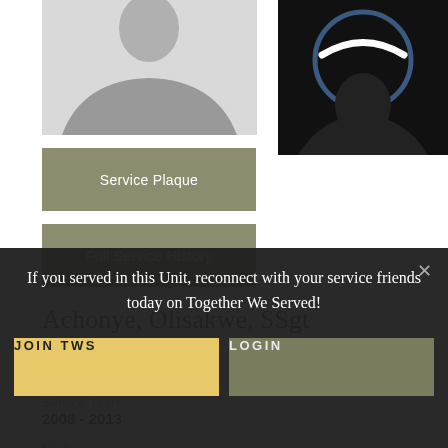[Figure (photo): Left photo: person silhouette on gray background]
[Figure (photo): Right photo: logo or emblem on dark/black background]
Service Plaque
Full Service History
Achonye, Olisakwe, SSgt
Status
USAFR Active
Service Years
2008 - 2013
MOS
3P0X1-Security Forces
If you served in this Unit, reconnect with your service friends today on Together We Served!
JOIN TWS
LOGIN